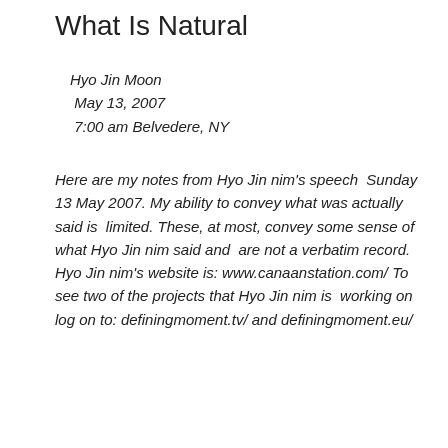What Is Natural
Hyo Jin Moon
May 13, 2007
7:00 am Belvedere, NY
Here are my notes from Hyo Jin nim's speech  Sunday 13 May 2007. My ability to convey what was actually said is  limited. These, at most, convey some sense of what Hyo Jin nim said and  are not a verbatim record. Hyo Jin nim's website is: www.canaanstation.com/ To see two of the projects that Hyo Jin nim is  working on log on to: definingmoment.tv/ and definingmoment.eu/